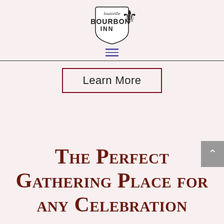[Figure (logo): Louisville Bourbon Inn logo with fleur-de-lis and shield emblem]
≡ (hamburger menu icon)
Learn More
The Perfect Gathering Place for any Celebration